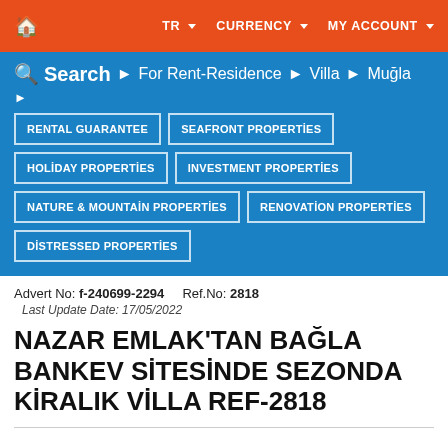🏠  TR ▼  CURRENCY ▼  MY ACCOUNT ▼
Search  ▶  For Rent-Residence  ▶  Villa  ▶  Muğla  ▶
RENTAL GUARANTEE
SEAFRONT PROPERTİES
HOLİDAY PROPERTİES
INVESTMENT PROPERTİES
NATURE & MOUNTAİN PROPERTİES
RENOVATİON PROPERTİES
DİSTRESSED PROPERTİES
Advert No: f-240699-2294    Ref.No: 2818
Last Update Date: 17/05/2022
NAZAR EMLAK'TAN BAĞLA BANKEV SİTESİNDE SEZONDA KİRALIK VİLLA REF-2818